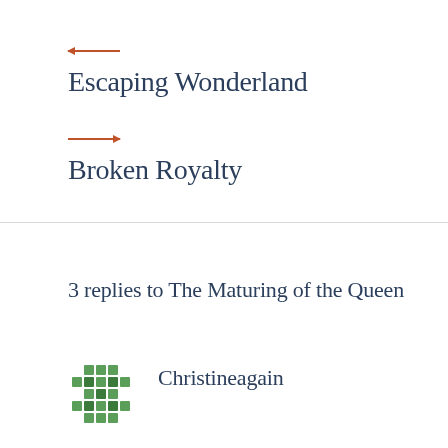[Figure (illustration): Orange left-pointing arrow]
Escaping Wonderland
[Figure (illustration): Orange right-pointing arrow]
Broken Royalty
3 replies to The Maturing of the Queen
[Figure (illustration): Green diamond pattern avatar icon for user Christineagain]
Christineagain